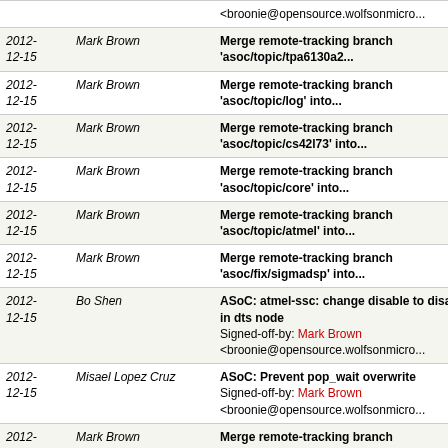| Date | Author | Message |
| --- | --- | --- |
|  |  | <broonie@opensource.wolfsonmicro... |
| 2012-12-15 | Mark Brown | Merge remote-tracking branch 'asoc/topic/tpa6130a2... |
| 2012-12-15 | Mark Brown | Merge remote-tracking branch 'asoc/topic/log' into... |
| 2012-12-15 | Mark Brown | Merge remote-tracking branch 'asoc/topic/cs42l73' into... |
| 2012-12-15 | Mark Brown | Merge remote-tracking branch 'asoc/topic/core' into... |
| 2012-12-15 | Mark Brown | Merge remote-tracking branch 'asoc/topic/atmel' into... |
| 2012-12-15 | Mark Brown | Merge remote-tracking branch 'asoc/fix/sigmadsp' into... |
| 2012-12-15 | Bo Shen | ASoC: atmel-ssc: change disable to disable in dts node
Signed-off-by: Mark Brown <broonie@opensource.wolfsonmicro... |
| 2012-12-15 | Misael Lopez Cruz | ASoC: Prevent pop_wait overwrite
Signed-off-by: Mark Brown <broonie@opensource.wolfsonmicro... |
| 2012-12-11 | Mark Brown | Merge remote-tracking branch 'regulator/topic/sm8767... |
| 2012-12-11 | Mark Brown | Merge remote-tracking branch 'regulator/topic/change... |
| 2012-12-11 | Axel Lin | regulator: core: Fix logic to determinate if regulator...
Signed-off-by: Mark Brown |